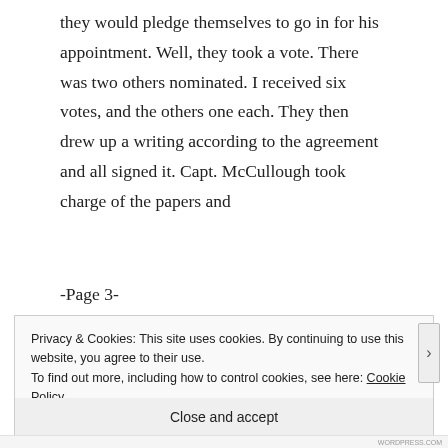they would pledge themselves to go in for his appointment. Well, they took a vote. There was two others nominated. I received six votes, and the others one each. They then drew up a writing according to the agreement and all signed it. Capt. McCullough took charge of the papers and
-Page 3-
Privacy & Cookies: This site uses cookies. By continuing to use this website, you agree to their use.
To find out more, including how to control cookies, see here: Cookie Policy
Close and accept